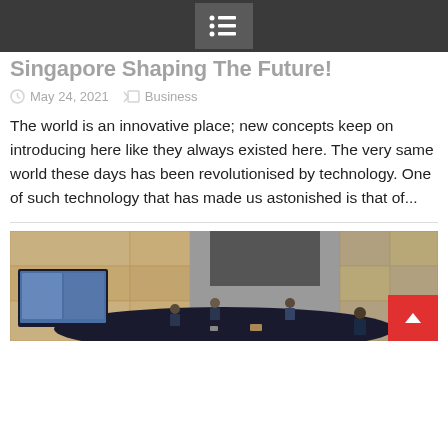Singapore Shaping The Future!
May 24, 2021   Business
The world is an innovative place; new concepts keep on introducing here like they always existed here. The very same world these days has been revolutionised by technology. One of such technology that has made us astonished is that of...
[Figure (photo): People seated at a conference table in a meeting room with screens displaying presentations, wearing masks.]